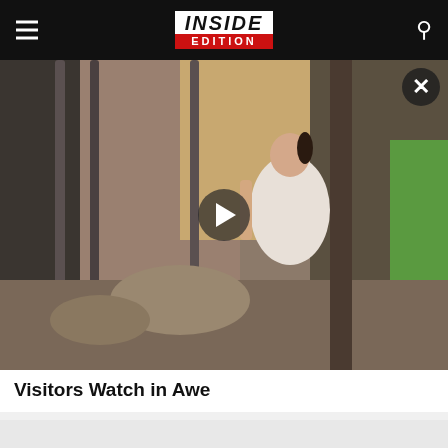INSIDE EDITION
[Figure (screenshot): Video thumbnail showing zoo visitors, including a young girl in a white shirt, standing at a cage watching animals. Metal bars visible in foreground. Play button overlay in center. Close (X) button in top right corner.]
Visitors Watch in Awe